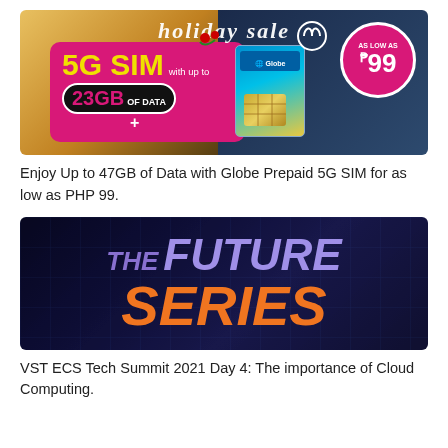[Figure (photo): Globe Prepaid 5G SIM holiday sale banner showing 5G SIM with 23GB of data for as low as ₱99, with Christmas decorations]
Enjoy Up to 47GB of Data with Globe Prepaid 5G SIM for as low as PHP 99.
[Figure (photo): The Future Series banner with purple and orange text on dark blue background]
VST ECS Tech Summit 2021 Day 4: The importance of Cloud Computing.